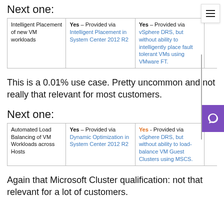Next one:
|  | Microsoft | VMware |  |
| --- | --- | --- | --- |
| Intelligent Placement of new VM workloads | Yes – Provided via Intelligent Placement in System Center 2012 R2 | Yes – Provided via vSphere DRS, but without ability to intelligently place fault tolerant VMs using VMware FT. |  |
This is a 0.01% use case. Pretty uncommon and not really that relevant for most customers.
Next one:
|  | Microsoft | VMware |  |
| --- | --- | --- | --- |
| Automated Load Balancing of VM Workloads across Hosts | Yes – Provided via Dynamic Optimization in System Center 2012 R2 | Yes - Provided via vSphere DRS, but without ability to load-balance VM Guest Clusters using MSCS. |  |
Again that Microsoft Cluster qualification: not that relevant for a lot of customers.